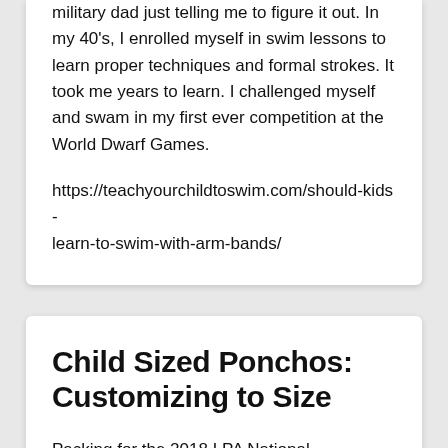military dad just telling me to figure it out. In my 40's, I enrolled myself in swim lessons to learn proper techniques and formal strokes. It took me years to learn. I challenged myself and swam in my first ever competition at the World Dwarf Games.
https://teachyourchildtoswim.com/should-kids-learn-to-swim-with-arm-bands/
Child Sized Ponchos: Customizing to Size
Packing for the 2018 LPA National Conference in Orlando, we needed rain ponchos. Rain in Orlando